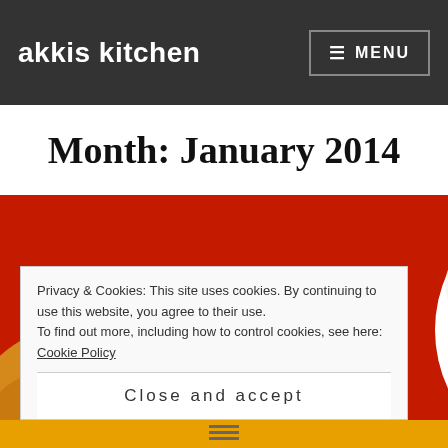akkis kitchen
Month: January 2014
[Figure (photo): A white bowl filled with Indian-style chickpea and green bean curry with sesame seeds, placed on a red decorative mat featuring an elephant motif]
Privacy & Cookies: This site uses cookies. By continuing to use this website, you agree to their use.
To find out more, including how to control cookies, see here: Cookie Policy
Close and accept